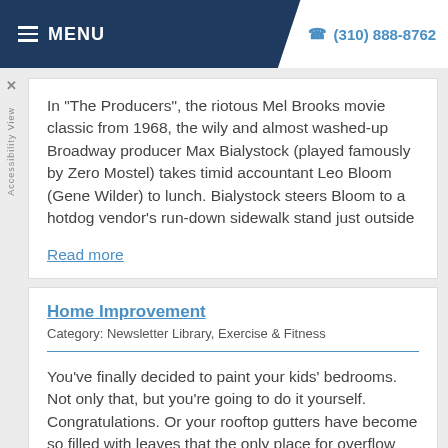MENU  (310) 888-8762
In "The Producers", the riotous Mel Brooks movie classic from 1968, the wily and almost washed-up Broadway producer Max Bialystock (played famously by Zero Mostel) takes timid accountant Leo Bloom (Gene Wilder) to lunch. Bialystock steers Bloom to a hotdog vendor's run-down sidewalk stand just outside
Read more
Home Improvement
Category: Newsletter Library, Exercise & Fitness
You've finally decided to paint your kids' bedrooms. Not only that, but you're going to do it yourself. Congratulations. Or your rooftop gutters have become so filled with leaves that the only place for overflow rainwater to go is down the